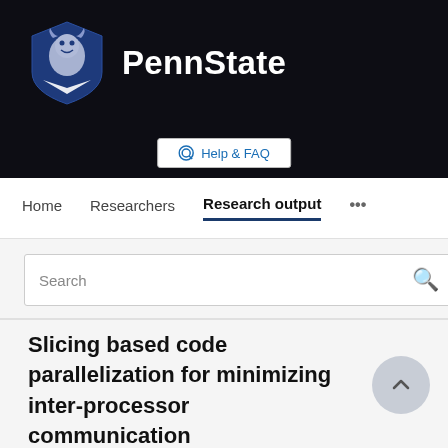[Figure (logo): Penn State shield logo (lion mascot in blue shield) and PennState wordmark in white on dark background]
Help & FAQ
Home   Researchers   Research output   ...
Search
Slicing based code parallelization for minimizing inter-processor communication